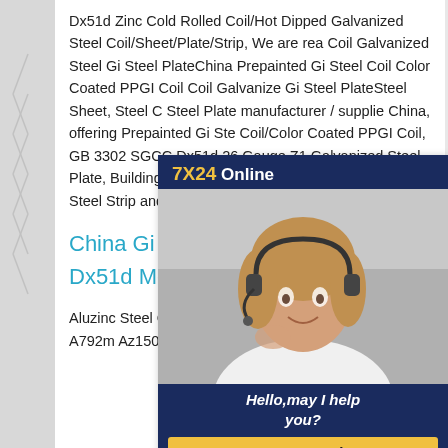Dx51d Zinc Cold Rolled Coil/Hot Dipped Galvanized Steel Coil/Sheet/Plate/Strip, We are rea Coil Galvanized Steel Gi Steel PlateChina Prepainted Gi Steel Coil Color Coated PPGI Coil Coil Galvanized Gi Steel PlateSteel Sheet, Steel Coil Steel Plate manufacturer / supplier in China, offering Prepainted Gi Steel Coil/Color Coated PPGI Coil, GB 3302 SGCC Dx51d 26 Gauge Z1 Galvanized Steel Plate, Building B JIS G3302 SGCC Dx51d Dx52D Oiled Gi Steel Strip and so on.
[Figure (other): Customer service chat widget with '7X24 Online' header, photo of a woman with headset, 'Hello,may I help you?' text, and 'Get Latest Price' button]
China Gi Coils Hot Dipped SGCC Dx51d Metal Zinc
Aluzinc Steel Coils Roofing Materials Anti-Finger ASTM A792m Az150 Afp